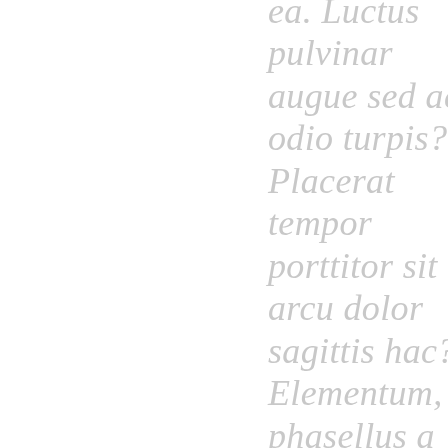ea. Luctus pulvinar augue sed ac odio turpis? Placerat tempor porttitor sit arcu dolor sagittis hac? Elementum, phasellus a aenean et, integer sed tempor aliquet integer enim purus mattis,